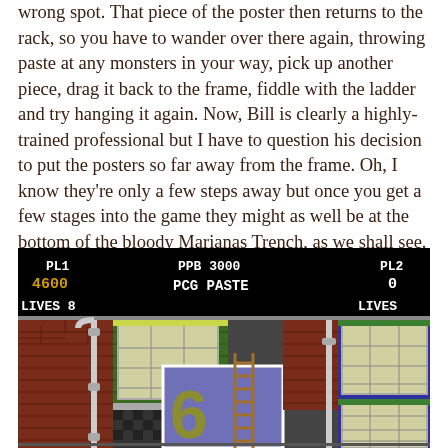wrong spot. That piece of the poster then returns to the rack, so you have to wander over there again, throwing paste at any monsters in your way, pick up another piece, drag it back to the frame, fiddle with the ladder and try hanging it again. Now, Bill is clearly a highly-trained professional but I have to question his decision to put the posters so far away from the frame. Oh, I know they're only a few steps away but once you get a few stages into the game they might as well be at the bottom of the bloody Marianas Trench, as we shall see.
[Figure (screenshot): Game screenshot showing PCG PASTE arcade game HUD with PL1 score 4600, PPB 3000, PL2 score 0, LIVES 8, and a building exterior with brick walls, windows, a ladder leaning against a frame showing a number 6, and various game elements.]